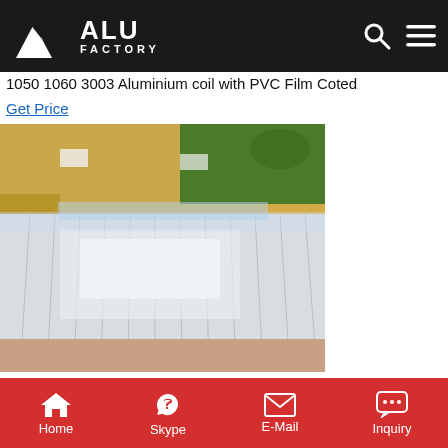ALU FACTORY
1050 1060 3003 Aluminium coil with PVC Film Coted
Get Price
[Figure (photo): Aluminium sheets/coils with PVC film, wrapped in protective packaging with gold/yellow cardboard boxing]
Gongyi Dingtai Al-Metal Co., Ltd. - Aluminium Sheet/Coil
Home  Skype  E-Mail  Inquiry